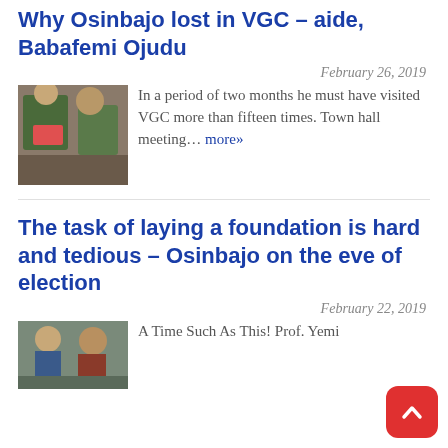Why Osinbajo lost in VGC – aide, Babafemi Ojudu
February 26, 2019
[Figure (photo): Photo of people at a polling station or event]
In a period of two months he must have visited VGC more than fifteen times. Town hall meeting… more»
The task of laying a foundation is hard and tedious – Osinbajo on the eve of election
February 22, 2019
[Figure (photo): Photo of Yemi Osinbajo at a campaign or public event]
A Time Such As This! Prof. Yemi